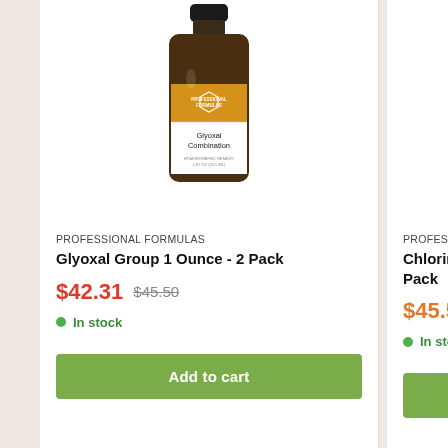[Figure (photo): Brown glass dropper bottle with gold and white label reading 'Professional Formulas - Glyoxal Combination - Homoeopathic Remedy 1 FL OZ (29.5 ML)']
PROFESSIONAL FORMULAS
Glyoxal Group 1 Ounce - 2 Pack
$42.31  $45.50
In stock
Add to cart
[Figure (photo): Brown glass dropper bottle with gold and white label reading 'Professional Formulas - Chlorinated Combination - Homoeopathic Remedy 1 FL OZ (29.5 ML)' (partially cropped)]
PROFESSIONAL FORM…
Chlorinated Rings Sy… 2 Pack
$45.50
In stock
Add to…